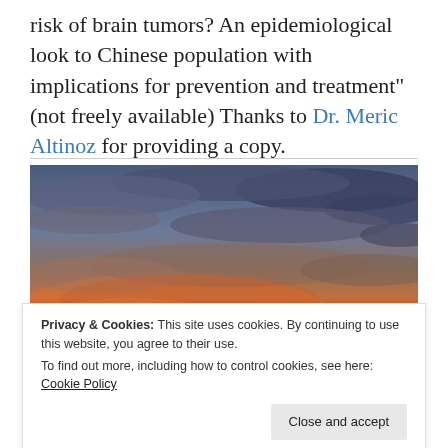risk of brain tumors? An epidemiological look to Chinese population with implications for prevention and treatment" (not freely available) Thanks to Dr. Meric Altinoz for providing a copy.
[Figure (photo): Sunset sky photograph with dramatic clouds, orange and red horizon glow, and darkened landscape at bottom]
Privacy & Cookies: This site uses cookies. By continuing to use this website, you agree to their use.
To find out more, including how to control cookies, see here: Cookie Policy